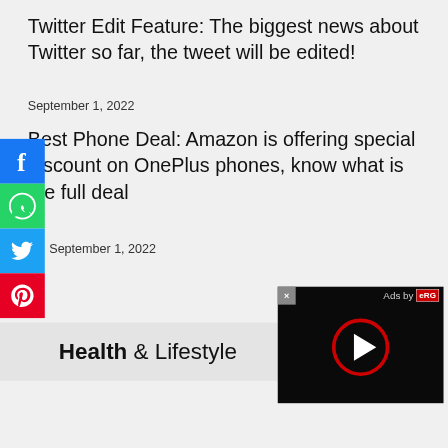Twitter Edit Feature: The biggest news about Twitter so far, the tweet will be edited!
September 1, 2022
Best Phone Deal: Amazon is offering special discount on OnePlus phones, know what is the full deal
September 1, 2022
Health & Lifestyle
[Figure (screenshot): Ad overlay with play button on black background with 'Ads by eRG' text and close button]